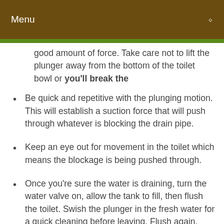Menu
good amount of force. Take care not to lift the plunger away from the bottom of the toilet bowl or you'll break the
Be quick and repetitive with the plunging motion. This will establish a suction force that will push through whatever is blocking the drain pipe.
Keep an eye out for movement in the toilet which means the blockage is being pushed through.
Once you're sure the water is draining, turn the water valve on, allow the tank to fill, then flush the toilet. Swish the plunger in the fresh water for a quick cleaning before leaving. Flush again.
If all your efforts fail, or if there is no plunger in the bathroom, swallow your pride and discreetly tell the host about your dilemma. Ask for a